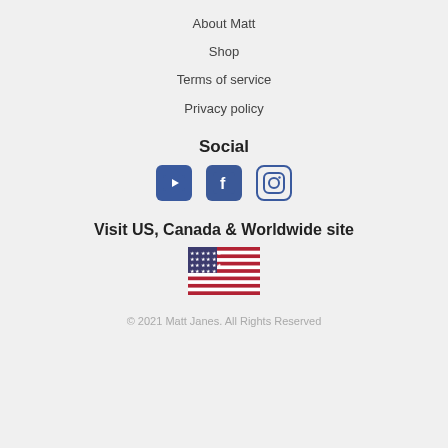About Matt
Shop
Terms of service
Privacy policy
Social
[Figure (illustration): Three social media icons: YouTube, Facebook, Instagram]
Visit US, Canada & Worldwide site
[Figure (illustration): US flag icon]
© 2021 Matt Janes. All Rights Reserved